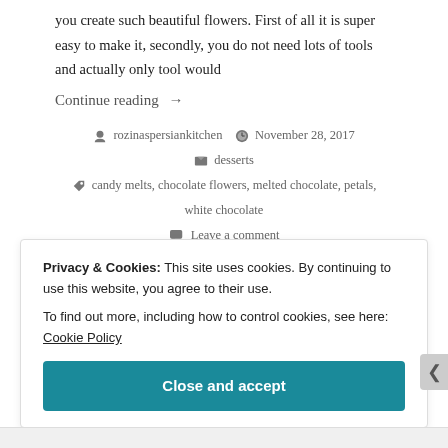you create such beautiful flowers. First of all it is super easy to make it, secondly, you do not need lots of tools and actually only tool would
Continue reading →
rozinaspersiankitchen   November 28, 2017   desserts   candy melts, chocolate flowers, melted chocolate, petals, white chocolate   Leave a comment
Privacy & Cookies: This site uses cookies. By continuing to use this website, you agree to their use.
To find out more, including how to control cookies, see here: Cookie Policy
Close and accept